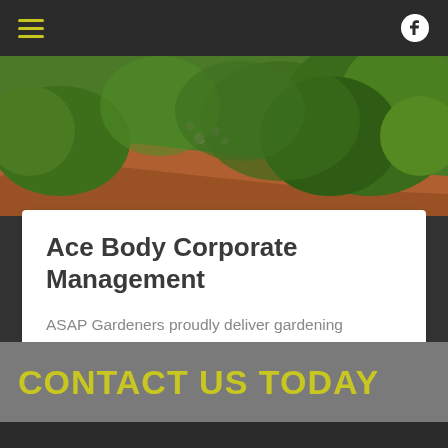Navigation bar with hamburger menu and Facebook icon
[Figure (photo): Aerial or ground-level photo of a curved path flanked by lush green tropical garden plants and shrubs with pink flowers, warm orange/red soil tones.]
Ace Body Corporate Management
ASAP Gardeners proudly deliver gardening maintenance and landscaping solutions for 30 body corporate properties throughout Brisbane.
CONTACT US TODAY